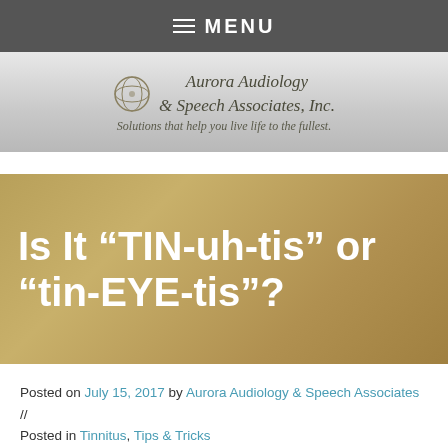MENU
[Figure (logo): Aurora Audiology & Speech Associates, Inc. logo with decorative circular emblem. Text reads: Aurora Audiology & Speech Associates, Inc. Solutions that help you live life to the fullest.]
Is It “TIN-uh-tis” or “tin-EYE-tis”?
Posted on July 15, 2017 by Aurora Audiology & Speech Associates // Posted in Tinnitus, Tips & Tricks
Request an Appointment